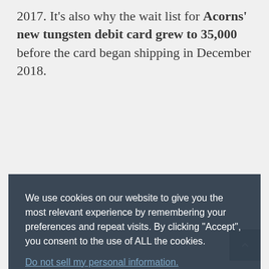2017. It's also why the wait list for Acorns' new tungsten debit card grew to 35,000 before the card began shipping in December 2018.
[Figure (screenshot): Cookie consent banner overlay with dark blue-gray background. Contains text: 'We use cookies on our website to give you the most relevant experience by remembering your preferences and repeat visits. By clicking "Accept", you consent to the use of ALL the cookies.' A link reading 'Do not sell my personal information.' and two buttons: 'Settings' (dark/black) and 'Accept' (light blue).]
PVC, introduces urbane design elements and dimensional depth to a traditional metal card, elevating its perceived quality. Using ink layers and special printing